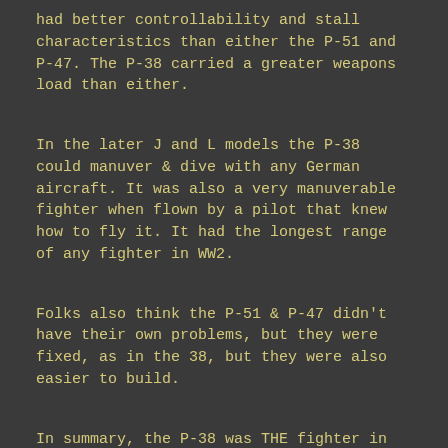had better controllability and stall characteristics than either the P-51 and P-47. The P-38 carried a greater weapons load than either.
In the later J and L models the P-38 could manuver & dive with any German aircraft. It was also a very manuverable fighter when flown by a pilot that knew how to fly it. It had the longest range of any fighter in WW2.
Folks also think the P-51 & P-47 didn't have their own problems, but they were fixed, as in the 38, but they were also easier to build.
In summary, the P-38 was THE fighter in the PTO, highly in demand in the MTO, and came on strong late in the ETO. It was also the most survivable, high performance fighter of WW2.